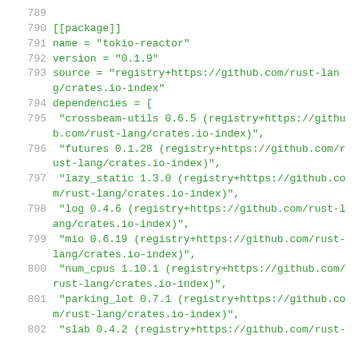789
790 [[package]]
791 name = "tokio-reactor"
792 version = "0.1.9"
793 source = "registry+https://github.com/rust-lang/crates.io-index"
794 dependencies = [
795  "crossbeam-utils 0.6.5 (registry+https://github.com/rust-lang/crates.io-index)",
796  "futures 0.1.28 (registry+https://github.com/rust-lang/crates.io-index)",
797  "lazy_static 1.3.0 (registry+https://github.com/rust-lang/crates.io-index)",
798  "log 0.4.6 (registry+https://github.com/rust-lang/crates.io-index)",
799  "mio 0.6.19 (registry+https://github.com/rust-lang/crates.io-index)",
800  "num_cpus 1.10.1 (registry+https://github.com/rust-lang/crates.io-index)",
801  "parking_lot 0.7.1 (registry+https://github.com/rust-lang/crates.io-index)",
802  "slab 0.4.2 (registry+https://github.com/rust-